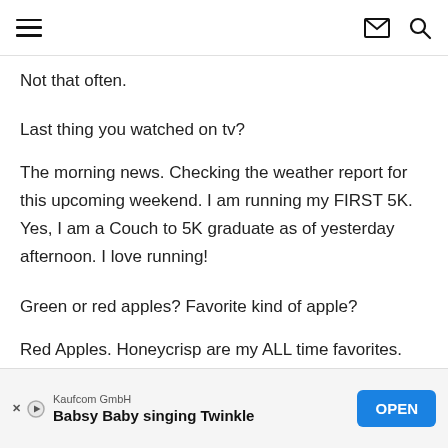[hamburger menu] [mail icon] [search icon]
Not that often.
Last thing you watched on tv?
The morning news. Checking the weather report for this upcoming weekend. I am running my FIRST 5K. Yes, I am a Couch to 5K graduate as of yesterday afternoon. I love running!
Green or red apples? Favorite kind of apple?
Red Apples. Honeycrisp are my ALL time favorites.
Kaufcom GmbH — Babsy Baby singing Twinkle — OPEN